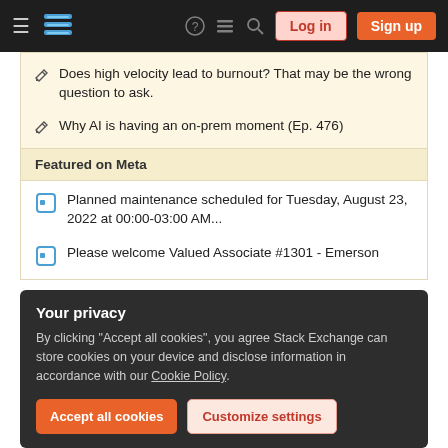Stack Exchange navigation bar with Log in and Sign up buttons
Does high velocity lead to burnout? That may be the wrong question to ask.
Why AI is having an on-prem moment (Ep. 476)
Featured on Meta
Planned maintenance scheduled for Tuesday, August 23, 2022 at 00:00-03:00 AM...
Please welcome Valued Associate #1301 - Emerson
Your privacy
By clicking "Accept all cookies", you agree Stack Exchange can store cookies on your device and disclose information in accordance with our Cookie Policy.
Related